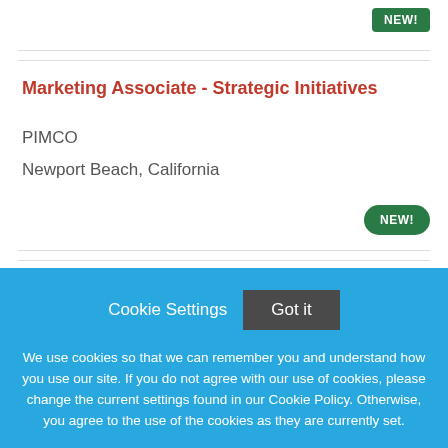[Figure (other): Green NEW! badge button in top right corner]
Marketing Associate - Strategic Initiatives
PIMCO
Newport Beach, California
[Figure (other): Green NEW! badge oval button on right side]
Cookie Settings   Got it
We use cookies so that we can remember you and understand how you use our site. If you do not agree with our use of cookies, please change the current settings found in our Cookie Policy. Otherwise, you agree to the use of the cookies as they are currently set.